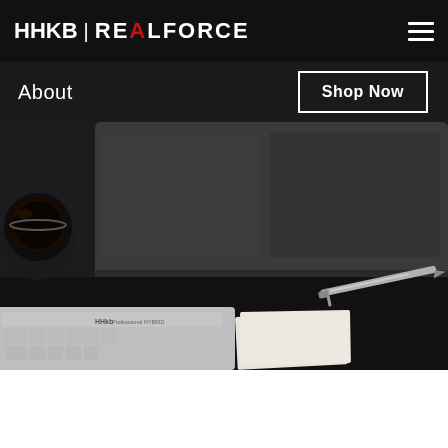HHKB | REALFORCE
About
Shop Now
[Figure (photo): Dark desk scene with a laptop, HHKB Professional HYBRID keyboard, a cup of black coffee, a pen, and some papers on a dark surface.]